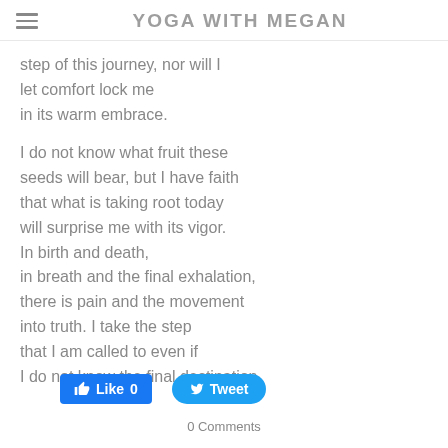YOGA WITH MEGAN
step of this journey, nor will I
let comfort lock me
in its warm embrace.
I do not know what fruit these
seeds will bear, but I have faith
that what is taking root today
will surprise me with its vigor.
In birth and death,
in breath and the final exhalation,
there is pain and the movement
into truth. I take the step
that I am called to even if
I do not know the final destination.
Like 0   Tweet
0 Comments